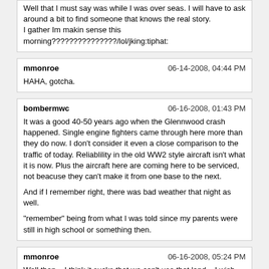Well that I must say was while I was over seas. I will have to ask around a bit to find someone that knows the real story.
I gather Im makin sense this morning???????????????/lol/jking:tiphat:
mmonroe
06-14-2008, 04:44 PM
HAHA, gotcha.
bombermwc
06-16-2008, 01:43 PM
It was a good 40-50 years ago when the Glennwood crash happened. Single engine fighters came through here more than they do now. I don't consider it even a close comparison to the traffic of today. Reliablility in the old WW2 style aircraft isn't what it is now. Plus the aircraft here are coming here to be serviced, not beacuse they can't make it from one base to the next.

And if I remember right, there was bad weather that night as well.

"remember" being from what I was told since my parents were still in high school or something then.
mmonroe
06-16-2008, 05:24 PM
Well then... I think it sucks that we can't use that land... I wish there were a way to just put up an attractive brick wall to hide all the ugliness. Make visitors wonder whats behind it.
Powered by vBulletin® Version 4.2.5 Copyright © 2022 vBulletin Solutions Inc. All rights reserved.